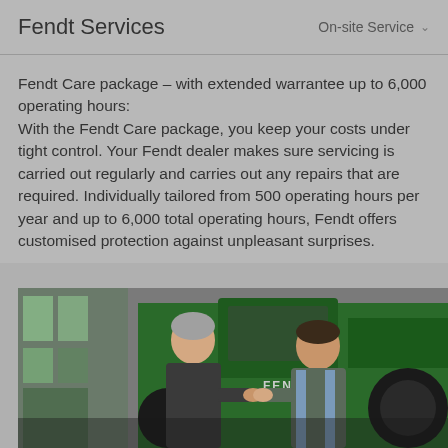Fendt Services   On-site Service
Fendt Care package – with extended warrantee up to 6,000 operating hours:
With the Fendt Care package, you keep your costs under tight control. Your Fendt dealer makes sure servicing is carried out regularly and carries out any repairs that are required. Individually tailored from 500 operating hours per year and up to 6,000 total operating hours, Fendt offers customised protection against unpleasant surprises.
[Figure (photo): Two men shaking hands in front of a green Fendt tractor. One man is older with grey hair wearing a dark jacket, the other is younger wearing a vest. A green building is visible in the background.]